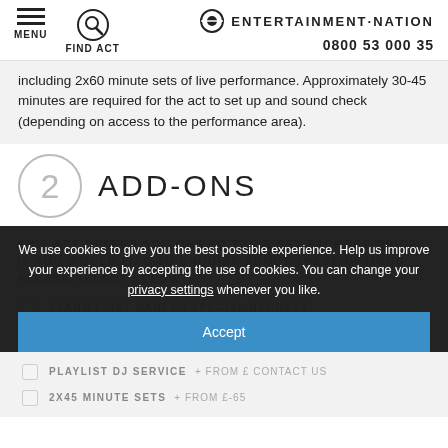MENU | FIND ACT | ENTERTAINMENT·NATION | 0800 53 000 35
including 2x60 minute sets of live performance. Approximately 30-45 minutes are required for the act to set up and sound check (depending on access to the performance area).
2 ADD-ONS
THIS ACT OFFERS ADD-ONS TO THEIR SET PACKAGE PRICE. IF YOU WOULD LIKE TO ENQUIRE ABOUT THESE OPTIONS PLEASE SELECT BELOW
LEARN FIRST DANCE / SPECIAL REQUEST
PLAYLIST DJ SERVICE + FROM £ CONTACT US
2X45 MINUTE SETS + FROM £-65
We use cookies to give you the best possible experience. Help us improve your experience by accepting the use of cookies. You can change your privacy settings whenever you like. Accept